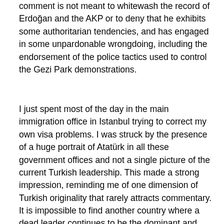comment is not meant to whitewash the record of Erdoğan and the AKP or to deny that he exhibits some authoritarian tendencies, and has engaged in some unpardonable wrongdoing, including the endorsement of the police tactics used to control the Gezi Park demonstrations.
I just spent most of the day in the main immigration office in Istanbul trying to correct my own visa problems. I was struck by the presence of a huge portrait of Atatürk in all these government offices and not a single picture of the current Turkish leadership. This made a strong impression, reminding me of one dimension of Turkish originality that rarely attracts commentary. It is impossible to find another country where a dead leader continues to be the dominant and essentially uncontested iconic image of national